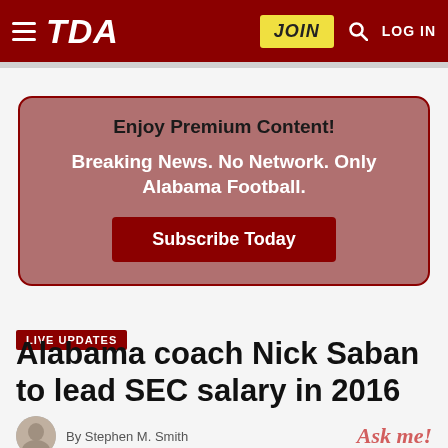TDA | JOIN | LOG IN
Enjoy Premium Content!
Breaking News. No Network. Only Alabama Football.
Subscribe Today
LIVE UPDATES
Alabama coach Nick Saban to lead SEC salary in 2016
By Stephen M. Smith